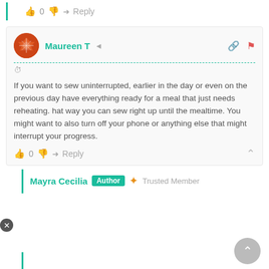👍 0 👎 → Reply
Maureen T  🔗 🚩
If you want to sew uninterrupted, earlier in the day or even on the previous day have everything ready for a meal that just needs reheating. hat way you can sew right up until the mealtime. You might want to also turn off your phone or anything else that might interrupt your progress.
👍 0 👎 → Reply
Mayra Cecilia  Author  ★ Trusted Member